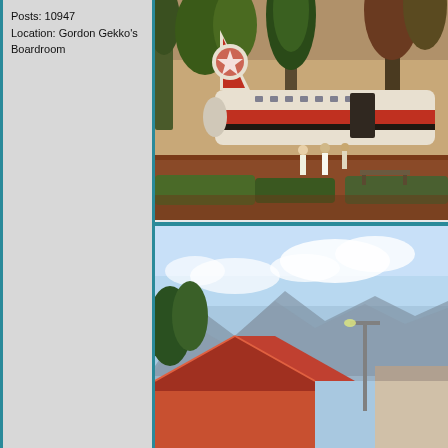Posts: 10947
Location: Gordon Gekko's Boardroom
[Figure (photo): Outdoor scene showing the tail and fuselage of a vintage aircraft displayed in a park or public area. People standing near it, trees and greenery visible, red dirt ground.]
[Figure (photo): Partial view of what appears to be an aircraft or building structure with a red/brown roof, blue sky with clouds and mountains in the background, a street lamp visible.]